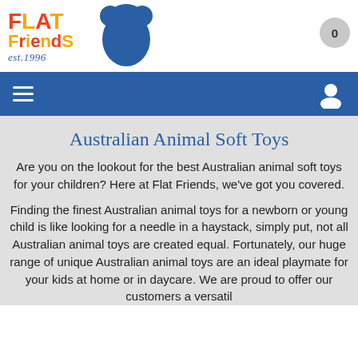[Figure (logo): Flat Friends logo with bear silhouette, orange/yellow text 'FLAT Friends' and blue bear shape, est.1996]
[Figure (other): Navigation bar with hamburger menu and user icon on blue background, cart with 0 badge]
Australian Animal Soft Toys
Are you on the lookout for the best Australian animal soft toys for your children? Here at Flat Friends, we've got you covered.
Finding the finest Australian animal toys for a newborn or young child is like looking for a needle in a haystack, simply put, not all Australian animal toys are created equal. Fortunately, our huge range of unique Australian animal toys are an ideal playmate for your kids at home or in daycare. We are proud to offer our customers a versatil